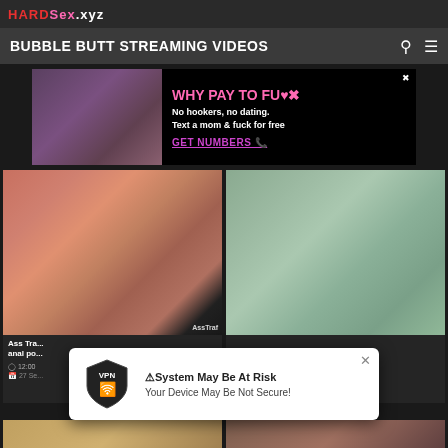HARDSex.xyz
BUBBLE BUTT STREAMING VIDEOS
[Figure (screenshot): Adult website advertisement banner with image on left and text on right reading 'WHY PAY TO FUCK - No hookers, no dating. Text a mom & fuck for free - GET NUMBERS']
[Figure (photo): Adult video thumbnail left - explicit content]
[Figure (photo): Adult video thumbnail right - person in grey clothing]
Ass Tra... anal po...
12:00
27 Se...
[Figure (screenshot): VPN security popup notification: 'System May Be At Risk - Your Device May Be Not Secure!']
[Figure (photo): Bottom row partial thumbnails]